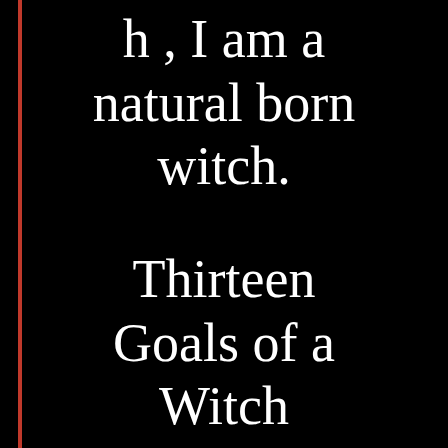h , I am a natural born witch.
Thirteen Goals of a Witch